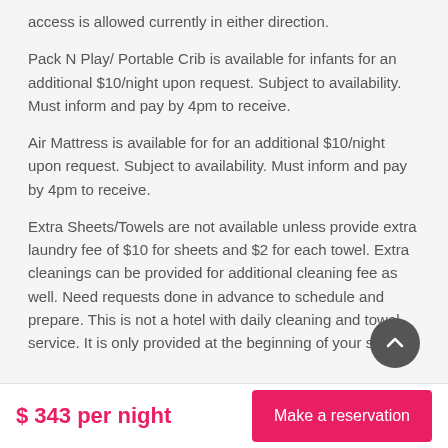access is allowed currently in either direction.
Pack N Play/ Portable Crib is available for infants for an additional $10/night upon request. Subject to availability. Must inform and pay by 4pm to receive.
Air Mattress is available for for an additional $10/night upon request. Subject to availability. Must inform and pay by 4pm to receive.
Extra Sheets/Towels are not available unless provide extra laundry fee of $10 for sheets and $2 for each towel. Extra cleanings can be provided for additional cleaning fee as well. Need requests done in advance to schedule and prepare. This is not a hotel with daily cleaning and towel service. It is only provided at the beginning of your stay.
$ 343 per night   Make a reservation